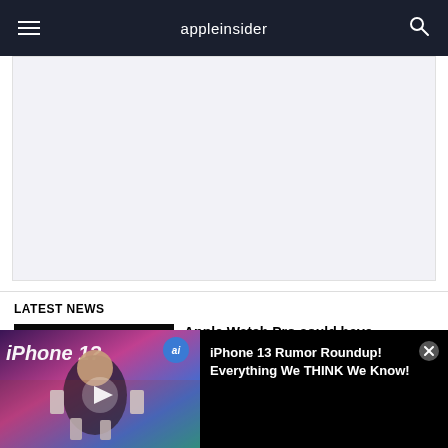appleinsider
[Figure (other): Advertisement placeholder area with light gray background]
LATEST NEWS
[Figure (photo): Article thumbnail showing iPhone 13 with dark background]
Apple Watch Pro could have
[Figure (screenshot): Video overlay showing iPhone 13 Rumor Roundup with presenter holding iPhones, purple/blue gradient background]
iPhone 13 Rumor Roundup! Everything We THINK We Know!